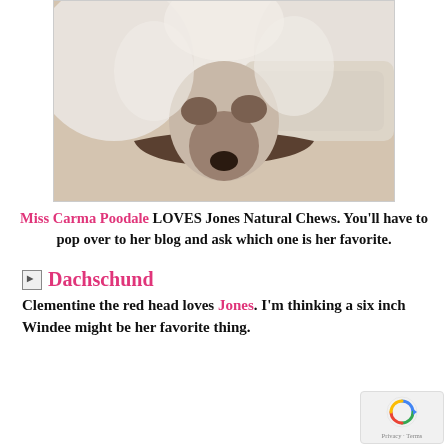[Figure (photo): Close-up photo of a white poodle dog resting its head on what appears to be a pillow or cushion, eyes closed or nearly closed, fluffy white fur visible]
Miss Carma Poodale LOVES Jones Natural Chews. You'll have to pop over to her blog and ask which one is her favorite.
[Figure (photo): Broken/unloaded image placeholder labeled Dachschund]
Clementine the red head loves Jones. I'm thinking a six inch Windee might be her favorite thing.